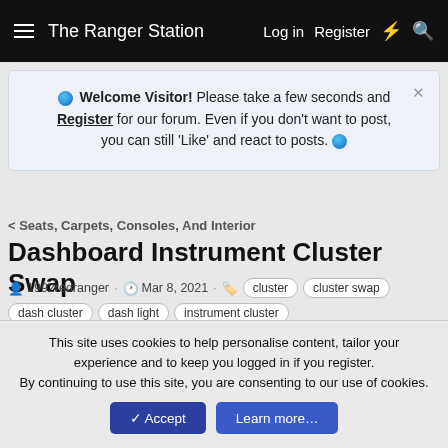The Ranger Station  Log in  Register
Welcome Visitor! Please take a few seconds and Register for our forum. Even if you don't want to post, you can still 'Like' and react to posts.
< Seats, Carpets, Consoles, And Interior
Dashboard Instrument Cluster Swap
1992redranger · Mar 8, 2021 · cluster  cluster swap  dash cluster  dash light  instrument cluster
1992redranger
New Member
This site uses cookies to help personalise content, tailor your experience and to keep you logged in if you register.
By continuing to use this site, you are consenting to our use of cookies.